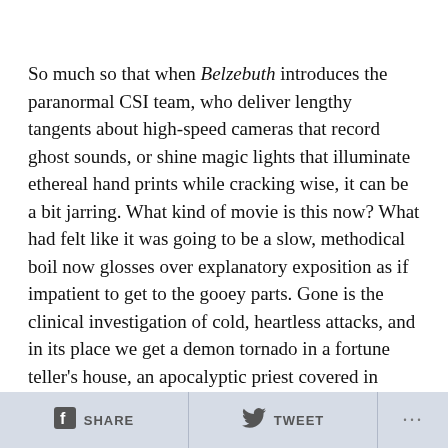So much so that when Belzebuth introduces the paranormal CSI team, who deliver lengthy tangents about high-speed cameras that record ghost sounds, or shine magic lights that illuminate ethereal hand prints while cracking wise, it can be a bit jarring. What kind of movie is this now? What had felt like it was going to be a slow, methodical boil now glosses over explanatory exposition as if impatient to get to the gooey parts. Gone is the clinical investigation of cold, heartless attacks, and in its place we get a demon tornado in a fortune teller's house, an apocalyptic priest covered in symbolic ink, an eerie baby buggy, and an abridged — but still shrieky and
messy — exorcism.
SHARE   TWEET   ...